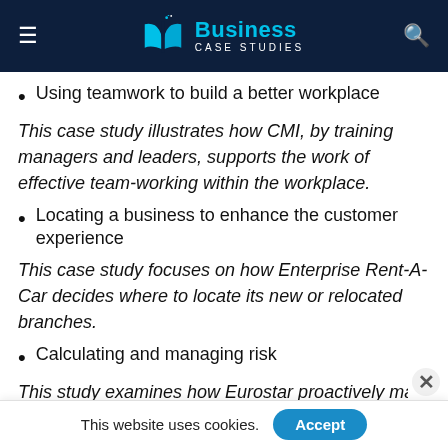Business Case Studies
Using teamwork to build a better workplace
This case study illustrates how CMI, by training managers and leaders, supports the work of effective team-working within the workplace.
Locating a business to enhance the customer experience
This case study focuses on how Enterprise Rent-A-Car decides where to locate its new or relocated branches.
Calculating and managing risk
This study examines how Eurostar proactively manages r…